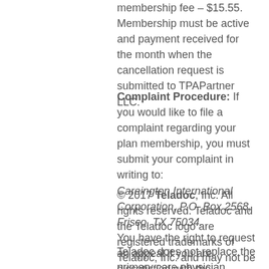membership fee – $15.55. Membership must be active and payment received for the month when the cancellation request is submitted to TPAPartner LLC.
Complaint Procedure: If you would like to file a complaint regarding your plan membership, you must submit your complaint in writing to: Careington International Corporation, P.O. Box 2568, Frisco, TX 75034. You have the right to request an appeal if you are dissatisfied with the complaint resolution. After completing the complaint resolution process, if you remain dissatisfied you may contact your state insurance department.
© 2017 Teladoc, Inc. All rights reserved. Teladoc and the Teladoc logo are registered trademarks of Teladoc, Inc. and may not be used without written permission.
Teladoc does not replace the primary care physician. Teladoc does not guarantee that a prescription will be written. Teladoc